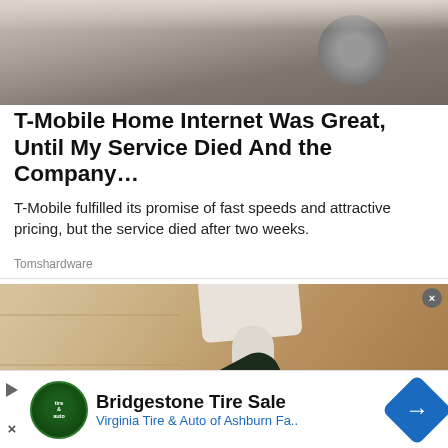[Figure (photo): Photo of smart home device, possibly an Amazon Echo or similar speaker on a textured surface]
T-Mobile Home Internet Was Great, Until My Service Died And the Company…
T-Mobile fulfilled its promise of fast speeds and attractive pricing, but the service died after two weeks.
Tomshardware
[Figure (photo): Close-up photo of a white outdoor security camera mounted on a wooden wall, with a dark lens visible]
Bridgestone Tire Sale
Virginia Tire & Auto of Ashburn Fa..